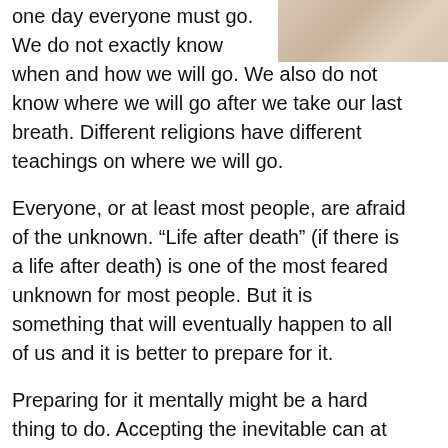[Figure (photo): Partial photo visible in the top-right corner, showing muted beige/tan tones, likely a decorative or background image.]
one day everyone must go. We do not exactly know when and how we will go. We also do not know where we will go after we take our last breath. Different religions have different teachings on where we will go.

Everyone, or at least most people, are afraid of the unknown. “Life after death” (if there is a life after death) is one of the most feared unknown for most people. But it is something that will eventually happen to all of us and it is better to prepare for it.

Preparing for it mentally might be a hard thing to do. Accepting the inevitable can at least ease the fear a little bit. The mental